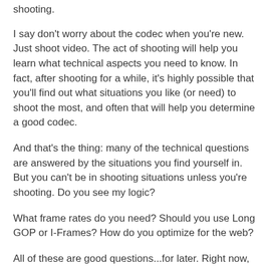shooting.
I say don't worry about the codec when you're new. Just shoot video. The act of shooting will help you learn what technical aspects you need to know. In fact, after shooting for a while, it's highly possible that you'll find out what situations you like (or need) to shoot the most, and often that will help you determine a good codec.
And that's the thing: many of the technical questions are answered by the situations you find yourself in. But you can't be in shooting situations unless you're shooting. Do you see my logic?
What frame rates do you need? Should you use Long GOP or I-Frames? How do you optimize for the web?
All of these are good questions...for later. Right now, if you're new to video, just pick up a camera and shoot.